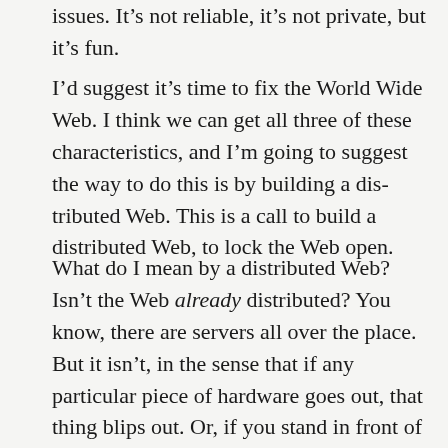issues. It’s not reliable, it’s not private, but it’s fun.
I’d suggest it’s time to fix the World Wide Web. I think we can get all three of these characteristics, and I’m going to suggest the way to do this is by building a distributed Web. This is a call to build a distributed Web, to lock the Web open.
What do I mean by a distributed Web? Isn’t the Web already distributed? You know, there are servers all over the place. But it isn’t, in the sense that if any particular piece of hardware goes out, that thing blips out. Or, if you stand in front of it, you can watch all traffic to it. Or if you stand in front of you, you can go and make sure that you can’t get to anything, or you can limit what you